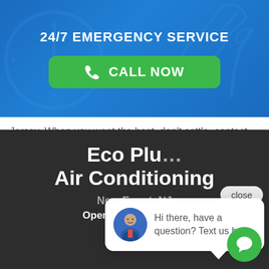24/7 EMERGENCY SERVICE
[Figure (screenshot): Green CALL NOW button with phone icon on blue banner background with tool icons]
Jersey. When you want the best, don't settle, contact Eco Plumbing Heating and Air Conditioning today and let us address your issues at prices you can afford. We always offer everyone we serve, guaranteed satisfaction
[Figure (infographic): Close button overlay and chat bubble popup with avatar saying 'Hi there, have a question? Text us here.']
Eco Plu... Air Conditioning
New Egypt, NJ
Open: Mon-Sun 24Hrs